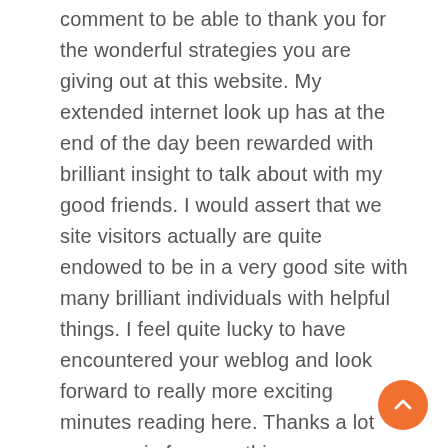comment to be able to thank you for the wonderful strategies you are giving out at this website. My extended internet look up has at the end of the day been rewarded with brilliant insight to talk about with my good friends. I would assert that we site visitors actually are quite endowed to be in a very good site with many brilliant individuals with helpful things. I feel quite lucky to have encountered your weblog and look forward to really more exciting minutes reading here. Thanks a lot once again for everything.
[Figure (other): Orange circular scroll-to-top button with an upward-pointing chevron/caret icon, positioned at the bottom-right corner of the page.]